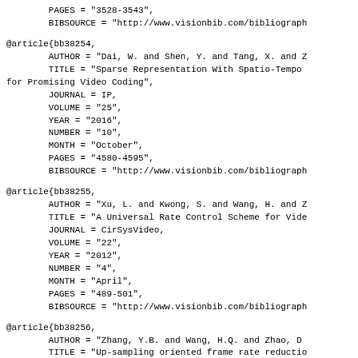PAGES = "3528-3543",
        BIBSOURCE = "http://www.visionbib.com/bibliograph
@article{bb38254,
        AUTHOR = "Dai, W. and Shen, Y. and Tang, X. and Z
        TITLE = "Sparse Representation With Spatio-Tempo
for Promising Video Coding",
        JOURNAL = IP,
        VOLUME = "25",
        YEAR = "2016",
        NUMBER = "10",
        MONTH = "October",
        PAGES = "4580-4595",
        BIBSOURCE = "http://www.visionbib.com/bibliograph
@article{bb38255,
        AUTHOR = "Xu, L. and Kwong, S. and Wang, H. and Z
        TITLE = "A Universal Rate Control Scheme for Vide
        JOURNAL = CirSysVideo,
        VOLUME = "22",
        YEAR = "2012",
        NUMBER = "4",
        MONTH = "April",
        PAGES = "489-501",
        BIBSOURCE = "http://www.visionbib.com/bibliograph
@article{bb38256,
        AUTHOR = "Zhang, Y.B. and Wang, H.Q. and Zhao, D
        TITLE = "Up-sampling oriented frame rate reductio
        JOURNAL = SP:IC,